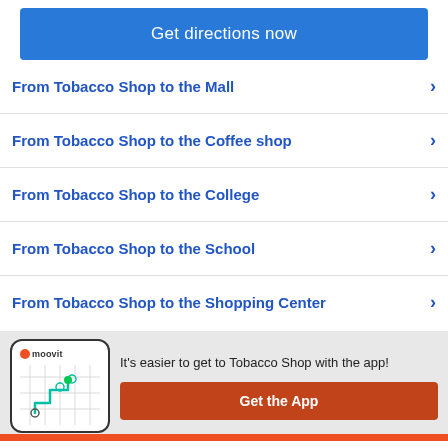Get directions now
From Tobacco Shop to the Mall
From Tobacco Shop to the Coffee shop
From Tobacco Shop to the College
From Tobacco Shop to the School
From Tobacco Shop to the Shopping Center
It's easier to get to Tobacco Shop with the app!
Get the App